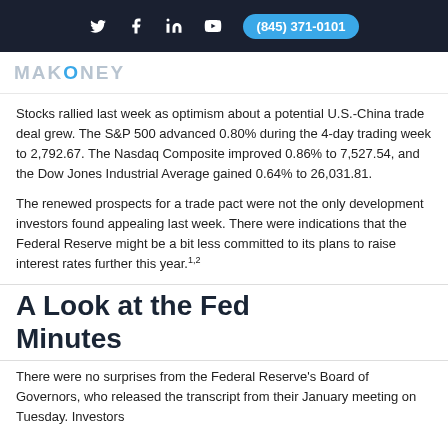(845) 371-0101
MAKONEY
Stocks rallied last week as optimism about a potential U.S.-China trade deal grew. The S&P 500 advanced 0.80% during the 4-day trading week to 2,792.67. The Nasdaq Composite improved 0.86% to 7,527.54, and the Dow Jones Industrial Average gained 0.64% to 26,031.81.
The renewed prospects for a trade pact were not the only development investors found appealing last week. There were indications that the Federal Reserve might be a bit less committed to its plans to raise interest rates further this year.1,2
A Look at the Fed Minutes
There were no surprises from the Federal Reserve's Board of Governors, who released the transcript from their January meeting on Tuesday. Investors